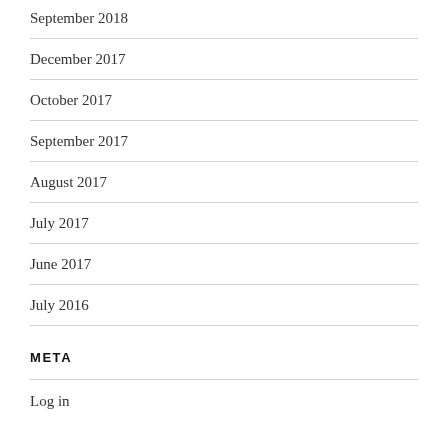September 2018
December 2017
October 2017
September 2017
August 2017
July 2017
June 2017
July 2016
META
Log in